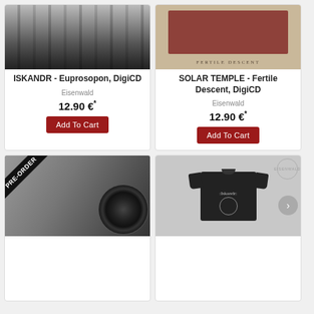[Figure (photo): Product card: ISKANDR - Euprosopon DigiCD with cathedral image]
ISKANDR - Euprosopon, DigiCD
Eisenwald
12.90 €*
Add To Cart
[Figure (photo): Product card: SOLAR TEMPLE - Fertile Descent DigiCD with red album art]
SOLAR TEMPLE - Fertile Descent, DigiCD
Eisenwald
12.90 €*
Add To Cart
[Figure (photo): Product card: vinyl album with PRE-ORDER ribbon badge, black vinyl disc visible]
[Figure (photo): Product card: black Iskandr t-shirt with circle/cross design, Eisenwald watermark visible]